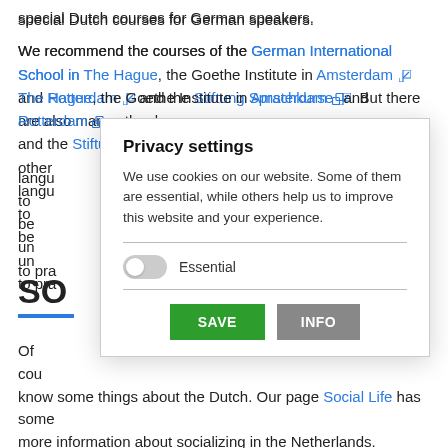special Dutch courses for German speakers.
We recommend the courses of the German International School in The Hague, the Goethe Institute in Amsterdam and Rotterdam and the Stiftung Sprachkurse. But there are also many other language schools. Not to be underrated are also native speakers to practice with.
SO
Of course, it is also very nice to know some things about the Dutch. Our page Social Life has some more information about socializing in the Netherlands.
[Figure (screenshot): Privacy settings cookie consent modal overlay with title 'Privacy settings', description text, Essential toggle (off), horizontal dividers, SAVE and INFO buttons.]